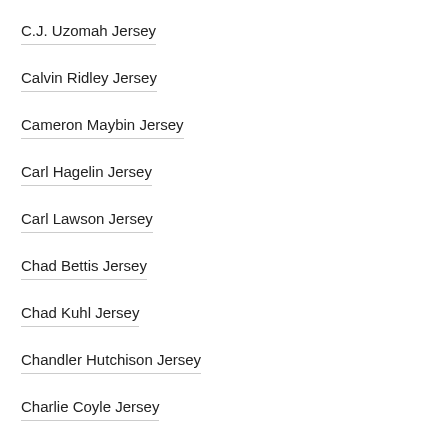C.J. Uzomah Jersey
Calvin Ridley Jersey
Cameron Maybin Jersey
Carl Hagelin Jersey
Carl Lawson Jersey
Chad Bettis Jersey
Chad Kuhl Jersey
Chandler Hutchison Jersey
Charlie Coyle Jersey